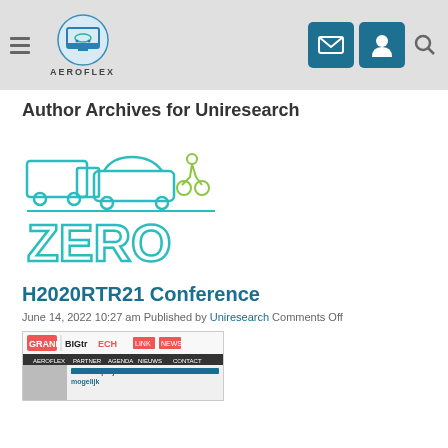AEROFLEX — navigation header with logo, email icon, user icon, search icon
Author Archives for Uniresearch
[Figure (logo): ZERO project logo: outline drawings of a truck, car, and cyclist in teal/green, with the word ZERO in teal below]
H2020RTR21 Conference
June 14, 2022 10:27 am Published by Uniresearch Comments Off
[Figure (screenshot): Screenshot of a website article: BIGtrECH header banner with logos, navigation bar, and article text 'Aeroflex-project: Grote CO2-reductie is mogelijk']